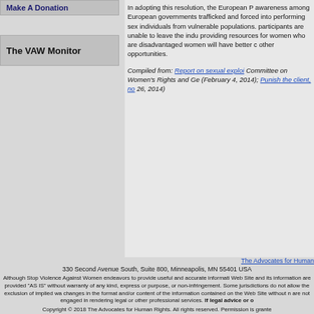Make A Donation
The VAW Monitor
In adopting this resolution, the European P... awareness among European governments... trafficked and forced into performing sex... individuals from vulnerable populations. ... participants are unable to leave the indu... providing resources for women who are... disadvantaged women will have better c... other opportunities.
Compiled from: Report on sexual exploi... Committee on Women’s Rights and Ge... (February 4, 2014); Punish the client, no... 26, 2014)
The Advocates for Human... 330 Second Avenue South, Suite 800, Minneapolis, MN 55401 USA... Although Stop Violence Against Women endeavors to provide useful and accurate informati... Web Site and its information are provided "AS IS" without warranty of any kind, express or... purpose, or non-infringement. Some jurisdictions do not allow the exclusion of implied wa... changes in the format and/or content of the information contained on the Web Site without n... are not engaged in rendering legal or other professional services. If legal advice or o... Copyright © 2018 The Advocates for Human Rights. All rights reserved. Permission is granted...